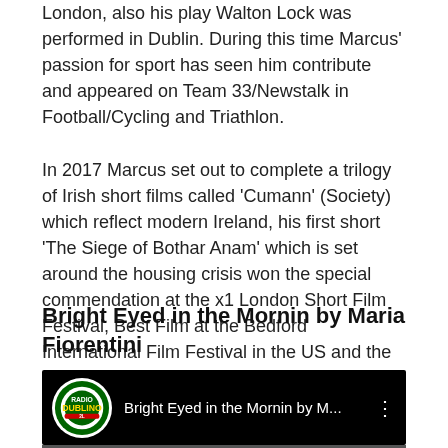London, also his play Walton Lock was performed in Dublin. During this time Marcus' passion for sport has seen him contribute and appeared on Team 33/Newstalk in Football/Cycling and Triathlon. In 2017 Marcus set out to complete a trilogy of Irish short films called 'Cumann' (Society) which reflect modern Ireland, his first short 'The Siege of Bothar Anam' which is set around the housing crisis won the special commendation at the x1 London Short Film Festival, Best Film at the Bedford International Film Festival in the US and the European Film Festival in Barcelona. His 2nd film -The Gallows Tree' is currently in pre-production.
Bright Eyed in the Mornin by Maria Fiorentini
[Figure (screenshot): Video player thumbnail showing Radio Dublino logo and title 'Bright Eyed in the Mornin by M...' with three-dot menu icon on a black background.]